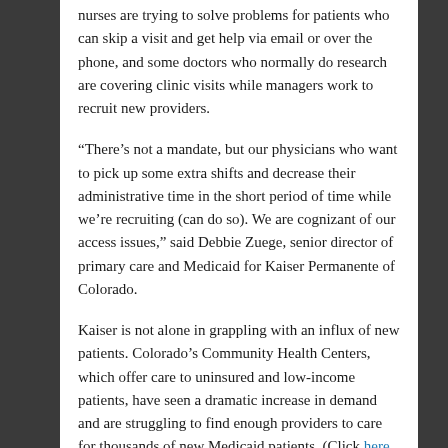nurses are trying to solve problems for patients who can skip a visit and get help via email or over the phone, and some doctors who normally do research are covering clinic visits while managers work to recruit new providers.
“There’s not a mandate, but our physicians who want to pick up some extra shifts and decrease their administrative time in the short period of time while we’re recruiting (can do so). We are cognizant of our access issues,” said Debbie Zuege, senior director of primary care and Medicaid for Kaiser Permanente of Colorado.
Kaiser is not alone in grappling with an influx of new patients. Colorado’s Community Health Centers, which offer care to uninsured and low-income patients, have seen a dramatic increase in demand and are struggling to find enough providers to care for thousands of new Medicaid patients. (Click here to read Doctor shortages accelerate as patients pour in for care.)
While the surge at Kaiser was bigger than expected this